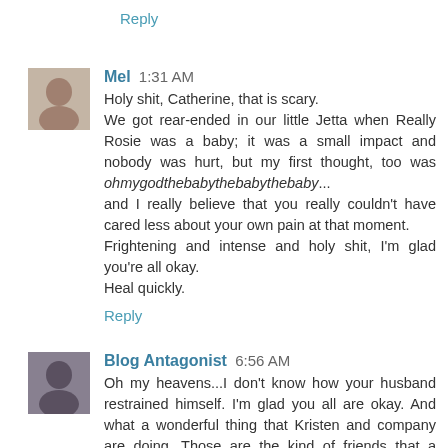Reply
Mel 1:31 AM
Holy shit, Catherine, that is scary.
We got rear-ended in our little Jetta when Really Rosie was a baby; it was a small impact and nobody was hurt, but my first thought, too was ohmygodthebabythebabythebaby... and I really believe that you really couldn't have cared less about your own pain at that moment.
Frightening and intense and holy shit, I'm glad you're all okay.
Heal quickly.
Reply
Blog Antagonist 6:56 AM
Oh my heavens...I don't know how your husband restrained himself. I'm glad you all are okay. And what a wonderful thing that Kristen and company are doing. Those are the kind of friends that a person never, ever forgets. I hope